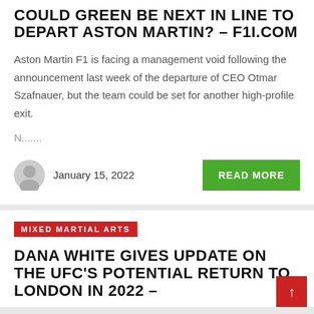COULD GREEN BE NEXT IN LINE TO DEPART ASTON MARTIN? – F1I.COM
Aston Martin F1 is facing a management void following the announcement last week of the departure of CEO Otmar Szafnauer, but the team could be set for another high-profile exit.
N.......
January 15, 2022
READ MORE
MIXED MARTIAL ARTS
DANA WHITE GIVES UPDATE ON THE UFC'S POTENTIAL RETURN TO LONDON IN 2022 –